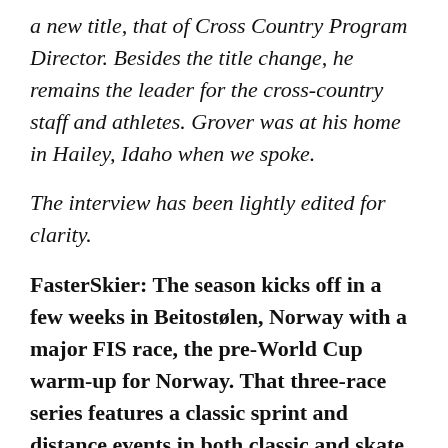a new title, that of Cross Country Program Director. Besides the title change, he remains the leader for the cross-country staff and athletes. Grover was at his home in Hailey, Idaho when we spoke.
The interview has been lightly edited for clarity.
FasterSkier: The season kicks off in a few weeks in Beitostølen, Norway with a major FIS race, the pre-World Cup warm-up for Norway. That three-race series features a classic sprint and distance events in both classic and skate.
Chirs Grover: We are going to be in Beitostølen with a complete team. And all 14 athletes that are starting in Ruka will be there.